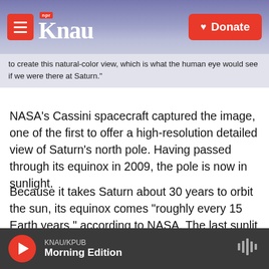KNAU NPR — Donate
to create this natural-color view, which is what the human eye would see if we were there at Saturn."
NASA's Cassini spacecraft captured the image, one of the first to offer a high-resolution detailed view of Saturn's north pole. Having passed through its equinox in 2009, the pole is now in sunlight.
Because it takes Saturn about 30 years to orbit the sun, its equinox comes "roughly every 15 Earth years," according to NASA. The last sunlit images of Saturn's north pole were taken back in 1981, by Voyager 2, the agency says. But its view wasn't as good as Cassini's
KNAU/KPUB — Morning Edition